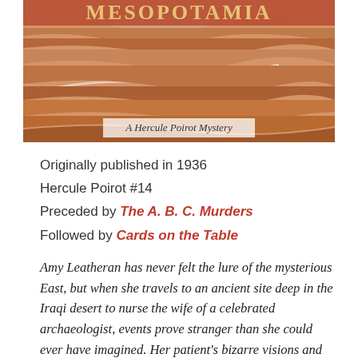[Figure (illustration): Book cover of Murder in Mesopotamia, A Hercule Poirot Mystery, featuring an illustrated desert landscape with layered rocky terrain in warm terracotta/orange tones with white river or path lines running through.]
Originally published in 1936
Hercule Poirot #14
Preceded by The A. B. C. Murders
Followed by Cards on the Table
Amy Leatheran has never felt the lure of the mysterious East, but when she travels to an ancient site deep in the Iraqi desert to nurse the wife of a celebrated archaeologist, events prove stranger than she could ever have imagined. Her patient's bizarre visions and nervous terror seem unfounded, but as the oppressive tension in the air thickens, events come to a